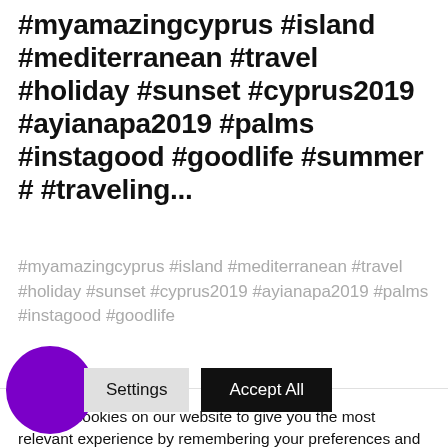#myamazingcyprus #island #mediterranean #travel #holiday #sunset #cyprus2019 #ayianapa2019 #palms #instagood #goodlife #summer # #traveling...
#myamazingcyprus #island #mediterranean #travel #holiday #sunset #cyprus2019 #ayianapa2019 #palms #instagood #goodlife
We use cookies on our website to give you the most relevant experience by remembering your preferences and repeat visits. By clicking "Accept All", you consent to the use of ALL the cookies. However, you may visit "Cookie Settings" to provide a controlled consent.